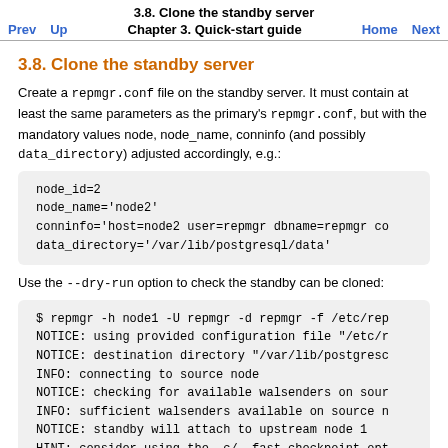3.8. Clone the standby server
Prev  Up  Chapter 3. Quick-start guide  Home  Next
3.8. Clone the standby server
Create a repmgr.conf file on the standby server. It must contain at least the same parameters as the primary's repmgr.conf, but with the mandatory values node, node_name, conninfo (and possibly data_directory) adjusted accordingly, e.g.:
node_id=2
node_name='node2'
conninfo='host=node2 user=repmgr dbname=repmgr co
data_directory='/var/lib/postgresql/data'
Use the --dry-run option to check the standby can be cloned:
$ repmgr -h node1 -U repmgr -d repmgr -f /etc/rep
NOTICE: using provided configuration file "/etc/r
NOTICE: destination directory "/var/lib/postgresc
INFO: connecting to source node
NOTICE: checking for available walsenders on sour
INFO: sufficient walsenders available on source n
NOTICE: standby will attach to upstream node 1
HINT: consider using the -c/--fast-checkpoint opt